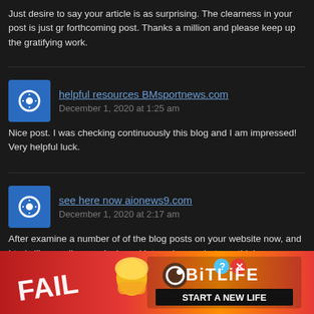Just desire to say your article is as surprising. The clearness in your post is just gr forthcoming post. Thanks a million and please keep up the gratifying work.
helpful resources BMsportnews.com
December 1, 2020 at 1:25 am
Nice post. I was checking continuously this blog and I am impressed! Very helpful luck.
see here now aionews9.com
December 1, 2020 at 2:17 am
After examine a number of of the blog posts on your website now, and I truly like y online as nicely and let me know what you think.
top article BioAmericanews.com
December 1, 2020 at 2:56 am
This is the subject th topic. You n
[Figure (screenshot): Advertisement banner: BitLife 'START A NEW LIFE' ad with FAIL text and cartoon character, red/fire background. Close X button visible above.]